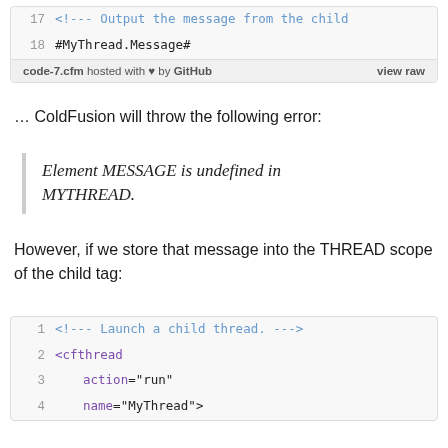[Figure (screenshot): Code block showing lines 17-18 of code-7.cfm: line 17 is a CFML comment '<!--- Output the message from the child', line 18 is '#MyThread.Message#'. Footer shows 'code-7.cfm hosted with ♥ by GitHub' and 'view raw'.]
… ColdFusion will throw the following error:
Element MESSAGE is undefined in MYTHREAD.
However, if we store that message into the THREAD scope of the child tag:
[Figure (screenshot): Code block showing lines 1-4: line 1 '<!--- Launch a child thread. --->', line 2 '<cfthread', line 3 'action="run"', line 4 'name="MyThread">']